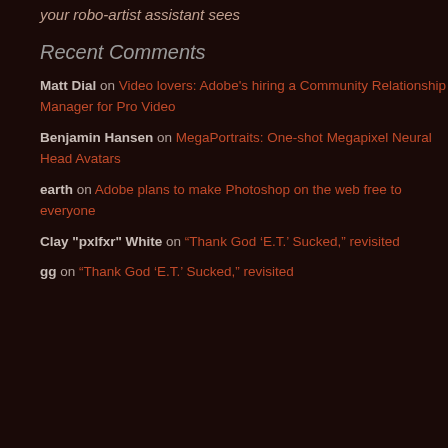your robo-artist assistant sees
Recent Comments
Matt Dial on Video lovers: Adobe's hiring a Community Relationship Manager for Pro Video
Benjamin Hansen on MegaPortraits: One-shot Megapixel Neural Head Avatars
earth on Adobe plans to make Photoshop on the web free to everyone
Clay "pxlfxr" White on “Thank God ‘E.T.’ Sucked,” revisited
gg on “Thank God ‘E.T.’ Sucked,” revisited